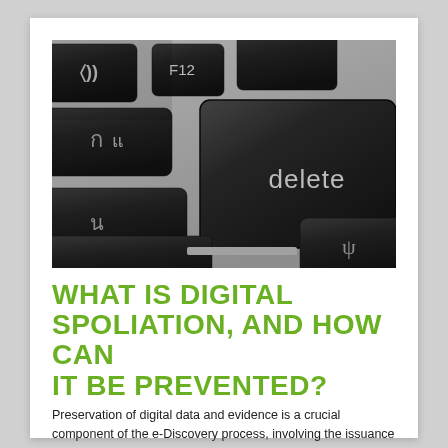[Figure (photo): Close-up photograph of a keyboard showing a large black 'delete' key prominently in the center, with other dark keys visible around it on a silver keyboard body.]
WHAT IS DIGITAL SPOLIATION, AND HOW CAN IT BE PREVENTED?
Preservation of digital data and evidence is a crucial component of the e-Discovery process, involving the issuance of litigation holds to prevent the destruction of